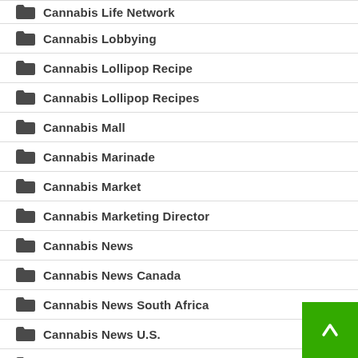Cannabis Life Network
Cannabis Lobbying
Cannabis Lollipop Recipe
Cannabis Lollipop Recipes
Cannabis Mall
Cannabis Marinade
Cannabis Market
Cannabis Marketing Director
Cannabis News
Cannabis News Canada
Cannabis News South Africa
Cannabis News U.S.
Cannabis NFTs